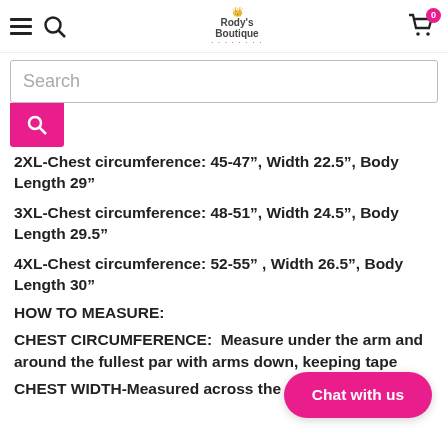Navigation header with hamburger menu, search icon, Rody's Boutique logo, and cart icon with badge 0
Search
2XL-Chest circumference: 45-47", Width 22.5", Body Length 29"
3XL-Chest circumference: 48-51", Width 24.5", Body Length 29.5"
4XL-Chest circumference: 52-55" , Width 26.5", Body Length 30"
HOW TO MEASURE:
CHEST CIRCUMFERENCE:  Measure under the arm and around the fullest par with arms down, keeping tape
CHEST WIDTH-Measured across the chest one